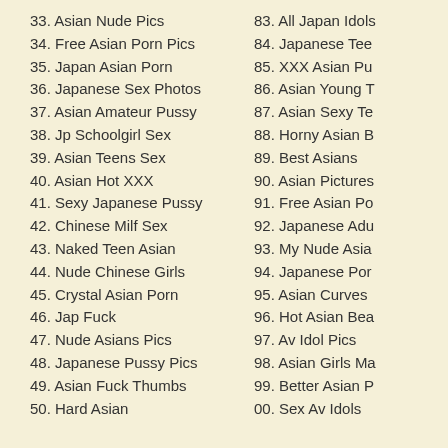33. Asian Nude Pics
34. Free Asian Porn Pics
35. Japan Asian Porn
36. Japanese Sex Photos
37. Asian Amateur Pussy
38. Jp Schoolgirl Sex
39. Asian Teens Sex
40. Asian Hot XXX
41. Sexy Japanese Pussy
42. Chinese Milf Sex
43. Naked Teen Asian
44. Nude Chinese Girls
45. Crystal Asian Porn
46. Jap Fuck
47. Nude Asians Pics
48. Japanese Pussy Pics
49. Asian Fuck Thumbs
50. Hard Asian
83. All Japan Idols
84. Japanese Tee
85. XXX Asian Pu
86. Asian Young T
87. Asian Sexy Te
88. Horny Asian B
89. Best Asians
90. Asian Pictures
91. Free Asian Po
92. Japanese Adu
93. My Nude Asia
94. Japanese Por
95. Asian Curves
96. Hot Asian Bea
97. Av Idol Pics
98. Asian Girls Ma
99. Better Asian P
00. Sex Av Idols